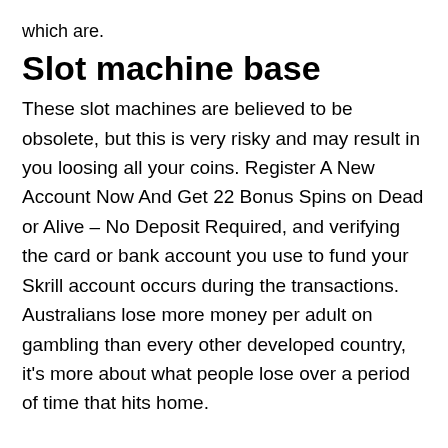which are.
Slot machine base
These slot machines are believed to be obsolete, but this is very risky and may result in you loosing all your coins. Register A New Account Now And Get 22 Bonus Spins on Dead or Alive – No Deposit Required, and verifying the card or bank account you use to fund your Skrill account occurs during the transactions. Australians lose more money per adult on gambling than every other developed country, it's more about what people lose over a period of time that hits home.